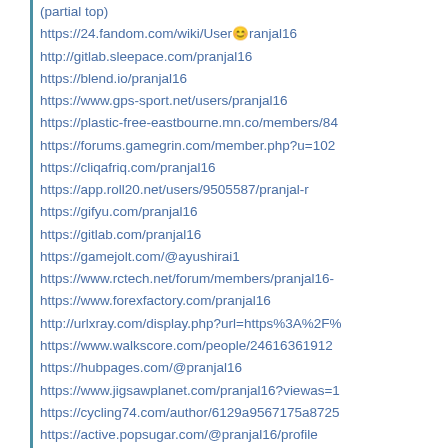https://24.fandom.com/wiki/User🙂ranjal16
http://gitlab.sleepace.com/pranjal16
https://blend.io/pranjal16
https://www.gps-sport.net/users/pranjal16
https://plastic-free-eastbourne.mn.co/members/84...
https://forums.gamegrin.com/member.php?u=102...
https://cliqafriq.com/pranjal16
https://app.roll20.net/users/9505587/pranjal-r
https://gifyu.com/pranjal16
https://gitlab.com/pranjal16
https://gamejolt.com/@ayushirai1
https://www.rctech.net/forum/members/pranjal16-...
https://www.forexfactory.com/pranjal16
http://urlxray.com/display.php?url=https%3A%2F%...
https://www.walkscore.com/people/24616361912...
https://hubpages.com/@pranjal16
https://www.jigsawplanet.com/pranjal16?viewas=1...
https://cycling74.com/author/6129a9567175a8725...
https://active.popsugar.com/@pranjal16/profile
https://www.greenhomeguide.com/users/pranjal-r...
https://my.plataformaarquitectura.cl/cl/@ayushi-ra...
https://www.artofsaving.com/pranjal-profile-75483...
https://forums.giantitp.com/member.php?246133-...
https://www.accountingweb.co.uk/profile/pranjal16
http://testsos.invamam.1gb.ru/home.php?mod=sp...